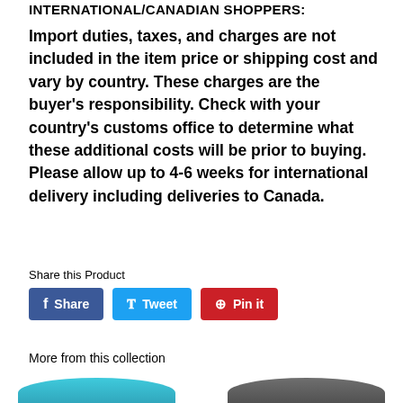INTERNATIONAL/CANADIAN SHOPPERS:
Import duties, taxes, and charges are not included in the item price or shipping cost and vary by country. These charges are the buyer's responsibility. Check with your country's customs office to determine what these additional costs will be prior to buying. Please allow up to 4-6 weeks for international delivery including deliveries to Canada.
Share this Product
[Figure (other): Social sharing buttons: Facebook Share, Twitter Tweet, Pinterest Pin it]
More from this collection
[Figure (photo): Product collection images partially visible at bottom of page]